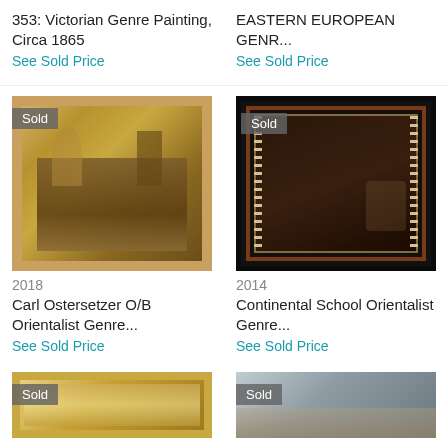353: Victorian Genre Painting, Circa 1865
See Sold Price
EASTERN EUROPEAN GENR...
See Sold Price
[Figure (photo): Framed orientalist genre painting showing figures in an interior scene, with gold frame, marked Sold]
2018
Carl Ostersetzer O/B Orientalist Genre...
See Sold Price
[Figure (photo): Dark framed painting in black and red ornate frame showing figures in dark interior scene, marked Sold]
2014
Continental School Orientalist Genre...
See Sold Price
[Figure (photo): Partial view of painting with gold frame, marked Sold]
[Figure (photo): Partial view of painting with light colored background, marked Sold]